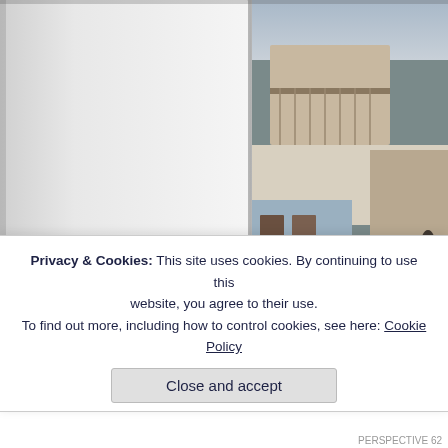[Figure (photo): An open book showing a blank white left page and a right page with a photograph of old colonial-style buildings on a street, curved/bent as the book is open. The photo shows weathered multi-story buildings with balconies and storefronts.]
Epitafios by Gladys Alav…
Something that I find interesting about both…
Privacy & Cookies: This site uses cookies. By continuing to use this website, you agree to their use.
To find out more, including how to control cookies, see here: Cookie Policy
Close and accept
PERSPECTIVE 62